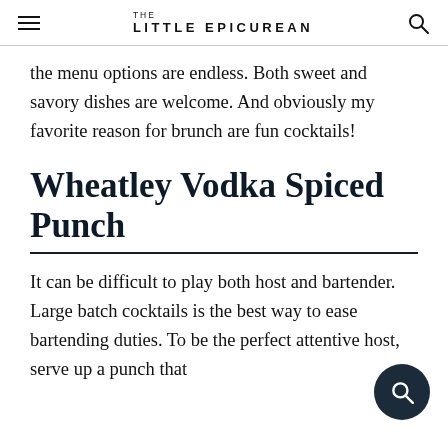THE LITTLE EPICUREAN
the menu options are endless. Both sweet and savory dishes are welcome. And obviously my favorite reason for brunch are fun cocktails!
Wheatley Vodka Spiced Punch
It can be difficult to play both host and bartender. Large batch cocktails is the best way to ease bartending duties. To be the perfect attentive host, serve up a punch that